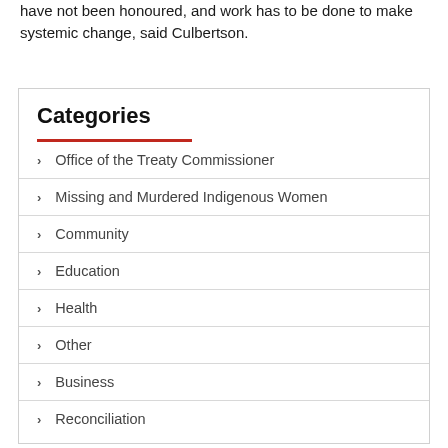have not been honoured, and work has to be done to make systemic change, said Culbertson.
Categories
Office of the Treaty Commissioner
Missing and Murdered Indigenous Women
Community
Education
Health
Other
Business
Reconciliation